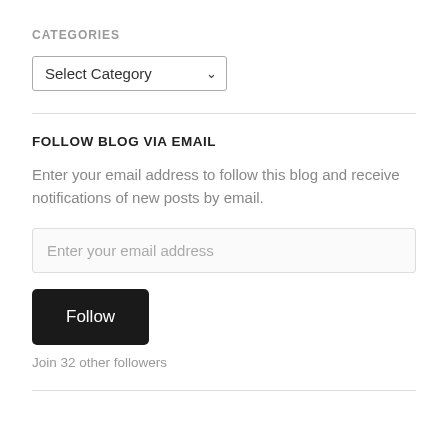CATEGORIES
[Figure (screenshot): A dropdown select box with label 'Select Category' and a downward chevron arrow]
FOLLOW BLOG VIA EMAIL
Enter your email address to follow this blog and receive notifications of new posts by email.
[Figure (screenshot): An email address input field with placeholder text 'Enter your email address']
[Figure (screenshot): A black 'Follow' button]
Join 32 other followers